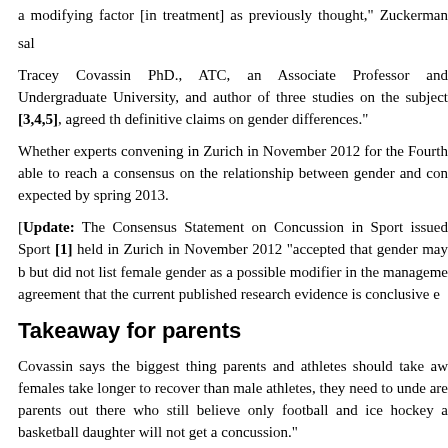a modifying factor [in treatment] as previously thought," Zuckerman said.
Tracey Covassin PhD., ATC, an Associate Professor and Undergraduate University, and author of three studies on the subject [3,4,5], agreed that definitive claims on gender differences."
Whether experts convening in Zurich in November 2012 for the Fourth able to reach a consensus on the relationship between gender and concussion expected by spring 2013.
[Update: The Consensus Statement on Concussion in Sport issued Sport [1] held in Zurich in November 2012 "accepted that gender may be but did not list female gender as a possible modifier in the management agreement that the current published research evidence is conclusive enough.]
Takeaway for parents
Covassin says the biggest thing parents and athletes should take away is that females take longer to recover than male athletes, they need to understand there are parents out there who still believe only football and ice hockey are sports and basketball daughter will not get a concussion."
Parents and coaches and primary physicians should all know the concussion syndrome, the guidelines for return to normal activity and